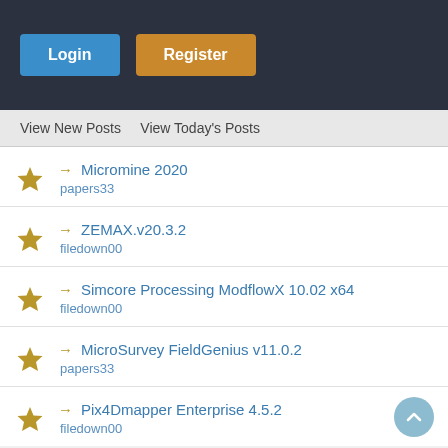Login | Register
View New Posts   View Today's Posts
→ Micromine 2020
papers33
→ ZEMAX.v20.3.2
filedown00
→ Simcore Processing ModflowX 10.02 x64
filedown00
→ MicroSurvey FieldGenius v11.0.2
papers33
→ Pix4Dmapper Enterprise 4.5.2
filedown00